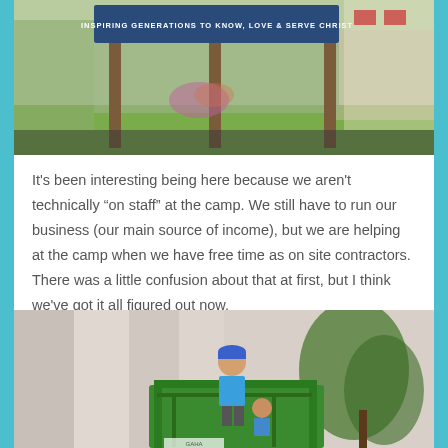[Figure (photo): Outdoor sign reading 'INSPIRING GENERATIONS TO KNOW, LOVE & SERVE CHRIST' mounted on wooden posts with green grass and shrubbery in the background.]
It's been interesting being here because we aren't technically “on staff” at the camp.  We still have to run our business (our main source of income), but we are helping at the camp when we have free time as on site contractors.  There was a little confusion about that at first, but I think we've got it all figured out now.
[Figure (photo): A person in a blue shirt and blue cap standing on a green lift/scaffold inside a building with curtains and plants visible in the background, with another person partially visible below.]